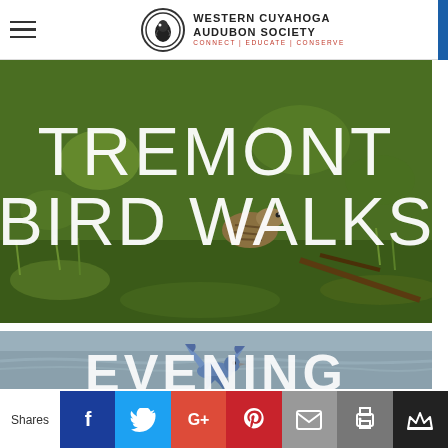Western Cuyahoga Audubon Society — CONNECT | EDUCATE | CONSERVE
[Figure (photo): Photo banner with text overlay reading TREMONT BIRD WALKS over a nature/grassland background with a bird]
[Figure (photo): Photo banner with a bird in flight over water background, with partial text EVENING visible at bottom]
Shares
[Figure (infographic): Social share bar with buttons: Facebook (f), Twitter (bird), Google+ (G+), Pinterest (P), Email (envelope), Print (printer), Crown icon]